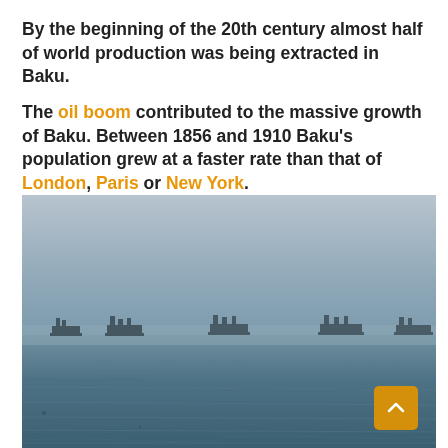By the beginning of the 20th century almost half of world production was being extracted in Baku.
The oil boom contributed to the massive growth of Baku. Between 1856 and 1910 Baku's population grew at a faster rate than that of London, Paris or New York.
[Figure (photo): A hazy seascape showing several offshore oil platforms or barges silhouetted on the horizon of a grey-blue sea under a misty sky.]